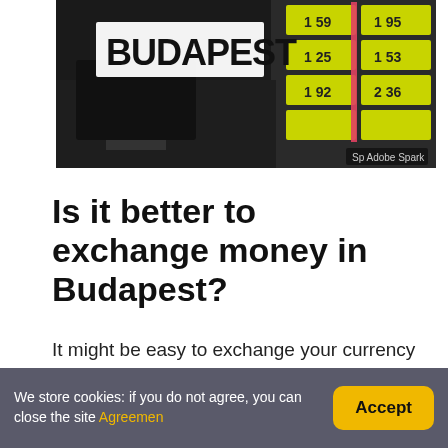[Figure (photo): Photo of a currency exchange board with yellow rate displays, overlaid with the word BUDAPEST in bold black letters on a white rectangle. Adobe Spark watermark visible bottom right.]
Is it better to exchange money in Budapest?
It might be easy to exchange your currency at the airport once you arrive in Budapest, or at the hotel before you head off to see the sights, but it'll usually cost more. Hotels and airports cater for a captive market meaning they can afford to charge more than elsewhere.
We store cookies: if you do not agree, you can close the site Agreemen